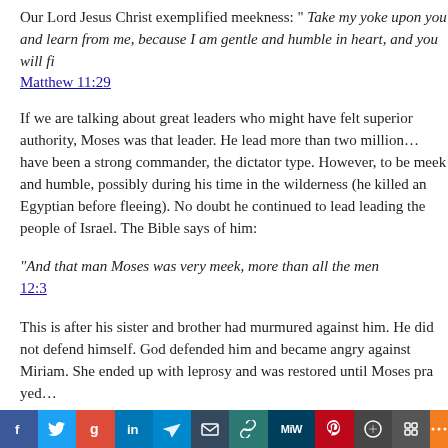Our Lord Jesus Christ exemplified meekness: " Take my yoke upon you and learn from me, because I am gentle and humble in heart, and you will fi…
Matthew 11:29
If we are talking about great leaders who might have felt superior authority, Moses was that leader. He lead more than two million… have been a strong commander, the dictator type. However, … to be meek and humble, possibly during his time in the wilde… killed an Egyptian before fleeing). No doubt he continued to b… leading the people of Israel. The Bible says of him:
"And that man Moses was very meek, more than all the men…  12:3
This is after his sister and brother had murmured against him… not defend himself. God defended him and became angry ag… She ended up with leprosy and was restored until Moses pra…
[Figure (infographic): Social media sharing bar with icons: Facebook (blue), Twitter (teal), Google (green), LinkedIn (dark blue), Telegram (blue), Email (teal/dark), Link (dark teal), MeWe (dark teal), Pinterest (red), WordPress (dark gray), another icon (dark gray), More (orange)]